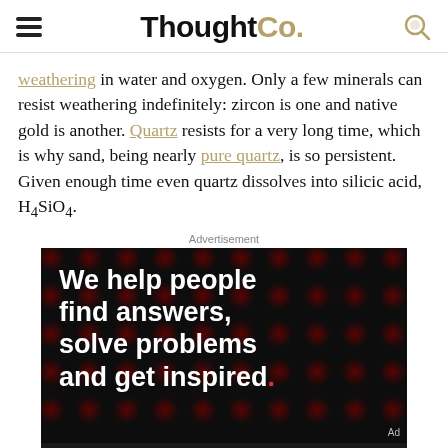ThoughtCo.
weathering in water and oxygen. Only a few minerals can resist weathering indefinitely: zircon is one and native gold is another. Quartz resists for a very long time, which is why sand, being nearly pure quartz, is so persistent. Given enough time even quartz dissolves into silicic acid, H4SiO4.
Advertisement
[Figure (photo): Advertisement banner reading 'We help people find answers, solve problems and get inspired.' on a dark background with red dot pattern, with Dotdash Meredith branding at the bottom.]